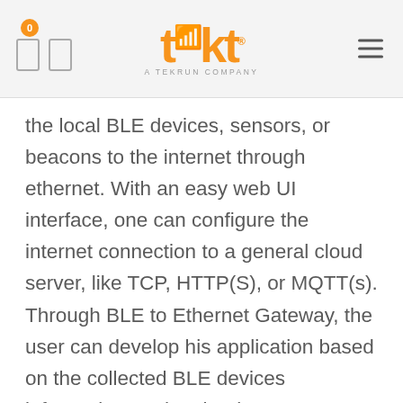tekt — A TEKRUN COMPANY
the local BLE devices, sensors, or beacons to the internet through ethernet. With an easy web UI interface, one can configure the internet connection to a general cloud server, like TCP, HTTP(S), or MQTT(s). Through BLE to Ethernet Gateway, the user can develop his application based on the collected BLE devices information on the cloud.